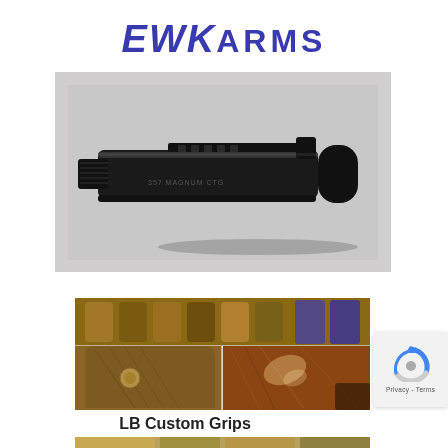EWK ARMS
[Figure (photo): Black metal firearm part (buffer tube or barrel extension) with threaded end and engraved text '357 MAGNUM CTG', shown on gray background]
[Figure (photo): Composite photo of wooden custom gun grips - top shows multiple grips lined up, bottom shows close-up of two grips, one with medallion and one smooth wood]
LB Custom Grips
[Figure (photo): Partial strip image at bottom, partially cut off]